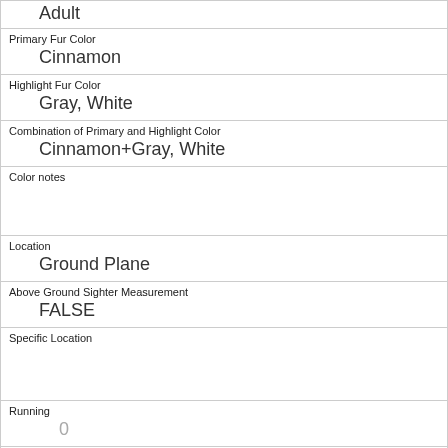| Adult |
| Primary Fur Color | Cinnamon |
| Highlight Fur Color | Gray, White |
| Combination of Primary and Highlight Color | Cinnamon+Gray, White |
| Color notes |  |
| Location | Ground Plane |
| Above Ground Sighter Measurement | FALSE |
| Specific Location |  |
| Running | 0 |
| Chasing | 0 |
| Climbing | 0 |